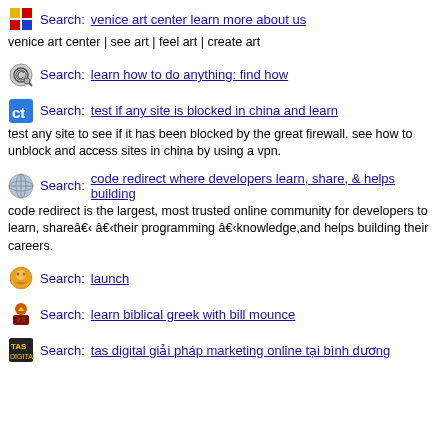Search: venice art center learn more about us
venice art center | see art | feel art | create art
Search: learn how to do anything: find how
Search: test if any site is blocked in china and learn
test any site to see if it has been blocked by the great firewall. see how to unblock and access sites in china by using a vpn.
Search: code redirect where developers learn, share, & helps building
code redirect is the largest, most trusted online community for developers to learn, shareâ€¹ â€¹their programming â€¹knowledge,and helps building their careers.
Search: launch
Search: learn biblical greek with bill mounce
Search: tas digital giải pháp marketing online tại bình dương